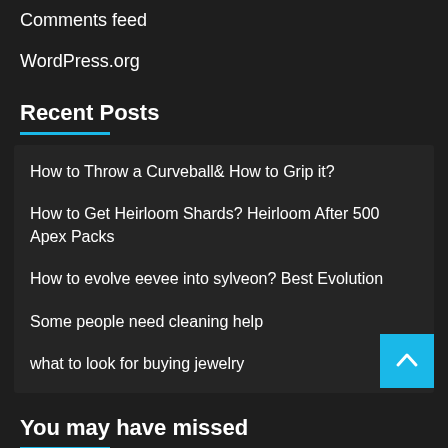Comments feed
WordPress.org
Recent Posts
How to Throw a Curveball& How to Grip it?
How to Get Heirloom Shards? Heirloom After 500 Apex Packs
How to evolve eevee into sylveon? Best Evolution
Some people need cleaning help
what to look for buying jewelry
You may have missed